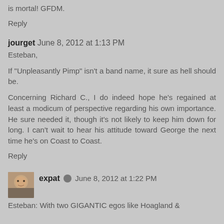is mortal! GFDM.
Reply
jourget June 8, 2012 at 1:13 PM
Esteban,

If "Unpleasantly Pimp" isn't a band name, it sure as hell should be.

Concerning Richard C., I do indeed hope he's regained at least a modicum of perspective regarding his own importance. He sure needed it, though it's not likely to keep him down for long. I can't wait to hear his attitude toward George the next time he's on Coast to Coast.
Reply
expat June 8, 2012 at 1:22 PM
Esteban: With two GIGANTIC egos like Hoagland &